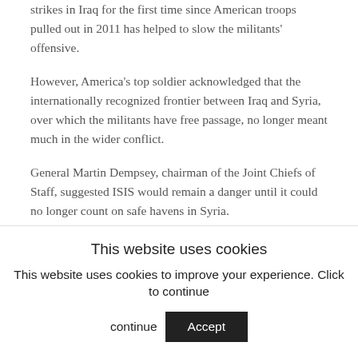strikes in Iraq for the first time since American troops pulled out in 2011 has helped to slow the militants' offensive.
However, America's top soldier acknowledged that the internationally recognized frontier between Iraq and Syria, over which the militants have free passage, no longer meant much in the wider conflict.
General Martin Dempsey, chairman of the Joint Chiefs of Staff, suggested ISIS would remain a danger until it could no longer count on safe havens in Syria.
The White House said on Friday the United States stood ready to take further action against ISIS fighters and reiterated that it would not be restricted by the
This website uses cookies
This website uses cookies to improve your experience. Click to continue
Accept